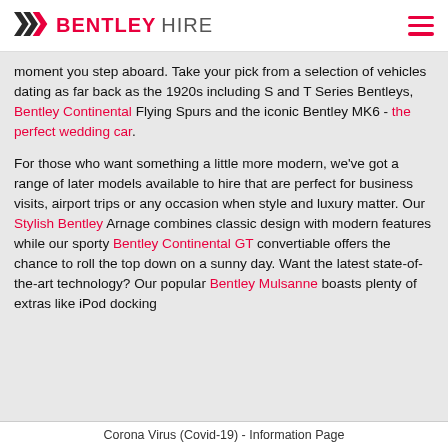BENTLEY HIRE
moment you step aboard. Take your pick from a selection of vehicles dating as far back as the 1920s including S and T Series Bentleys, Bentley Continental Flying Spurs and the iconic Bentley MK6 - the perfect wedding car.
For those who want something a little more modern, we've got a range of later models available to hire that are perfect for business visits, airport trips or any occasion when style and luxury matter. Our Stylish Bentley Arnage combines classic design with modern features while our sporty Bentley Continental GT convertiable offers the chance to roll the top down on a sunny day. Want the latest state-of-the-art technology? Our popular Bentley Mulsanne boasts plenty of extras like iPod docking
Corona Virus (Covid-19) - Information Page